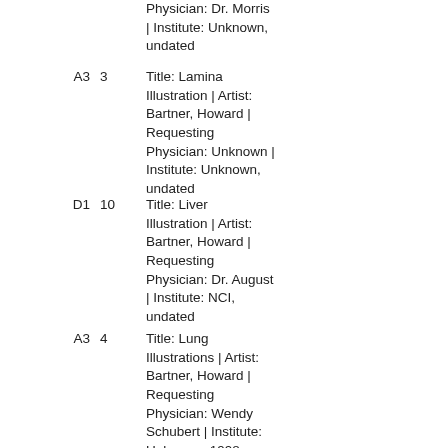Physician: Dr. Morris | Institute: Unknown, undated
A3  3  Title: Lamina Illustration | Artist: Bartner, Howard | Requesting Physician: Unknown | Institute: Unknown, undated
D1  10  Title: Liver Illustration | Artist: Bartner, Howard | Requesting Physician: Dr. August | Institute: NCI, undated
A3  4  Title: Lung Illustrations | Artist: Bartner, Howard | Requesting Physician: Wendy Schubert | Institute: Unknown, 1998
C1  15  Title: Lungs and